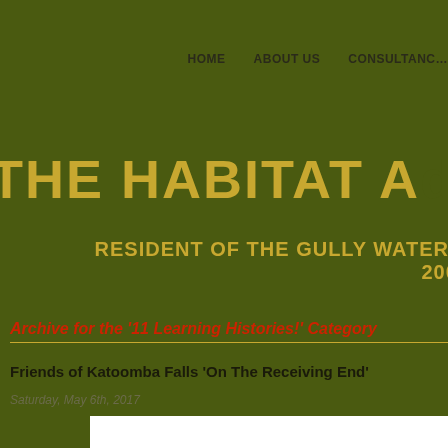HOME   ABOUT US   CONSULTANCY
THE HABITAT A…
RESIDENT OF THE GULLY WATER… 2001
Archive for the '11 Learning Histories!' Category
Friends of Katoomba Falls 'On The Receiving End'
Saturday, May 6th, 2017